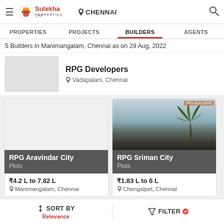Sulekha Properties — CHENNAI
PROPERTIES   PROJECTS   BUILDERS   AGENTS
5 Builders in Manimangalam, Chennai as on 29 Aug, 2022
RPG Developers
Vadapalani, Chennai
[Figure (screenshot): RPG Aravindar City project card showing blank image, price ₹4.2 L to 7.82 L, Manimangalam, Chennai]
[Figure (screenshot): RPG Sriman City project card showing photo with palm tree, price ₹1.83 L to 6 L, Chengalpet, Chennai]
SORT BY Relevance   FILTER